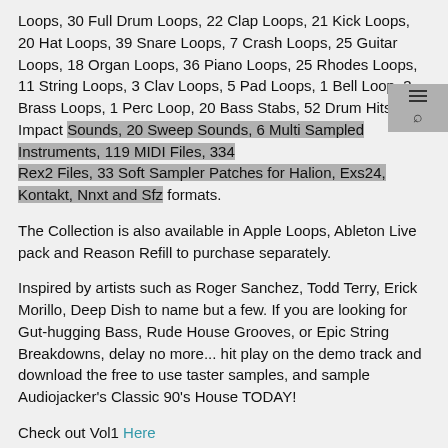Loops, 30 Full Drum Loops, 22 Clap Loops, 21 Kick Loops, 20 Hat Loops, 39 Snare Loops, 7 Crash Loops, 25 Guitar Loops, 18 Organ Loops, 36 Piano Loops, 25 Rhodes Loops, 11 String Loops, 3 Clav Loops, 5 Pad Loops, 1 Bell Loop, 3 Brass Loops, 1 Perc Loop, 20 Bass Stabs, 52 Drum Hits, 20 Impact Sounds, 20 Sweep Sounds, 6 Multi Sampled Instruments, 119 MIDI Files, 334 Rex2 Files, 33 Soft Sampler Patches for Halion, Exs24, Kontakt, Nnxt and Sfz formats.
The Collection is also available in Apple Loops, Ableton Live pack and Reason Refill to purchase separately.
Inspired by artists such as Roger Sanchez, Todd Terry, Erick Morillo, Deep Dish to name but a few. If you are looking for Gut-hugging Bass, Rude House Grooves, or Epic String Breakdowns, delay no more... hit play on the demo track and download the free to use taster samples, and sample Audiojacker's Classic 90's House TODAY!
Check out Vol1 Here
https://soundcloud.com/audiojacker
https://www.facebook.com/audiojacker
Any references to any brands on this site/page, including reference to brands and instruments, are provided for description purposes only. For example references to